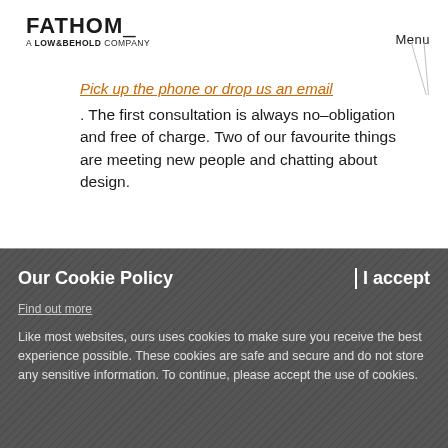FATHOM_ A LOW&BEHOLD COMPANY | Menu
Pick up the phone or drop us an email. The first consultation is always no–obligation and free of charge. Two of our favourite things are meeting new people and chatting about design.
Our Cookie Policy
I accept
Find out more
Like most websites, ours uses cookies to make sure you receive the best experience possible. These cookies are safe and secure and do not store any sensitive information. To continue, please accept the use of cookies.